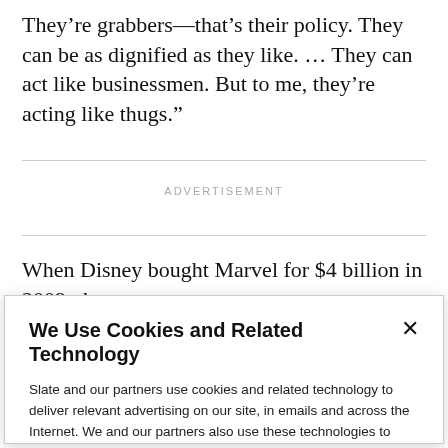They’re grabbers—that’s their policy. They can be as dignified as they like. … They can act like businessmen. But to me, they’re acting like thugs.”
ADVERTISEMENT
When Disney bought Marvel for $4 billion in 2009, the
We Use Cookies and Related Technology
Slate and our partners use cookies and related technology to deliver relevant advertising on our site, in emails and across the Internet. We and our partners also use these technologies to personalize content and perform site analytics. For more information, see our terms and privacy policy. Privacy Policy
OK